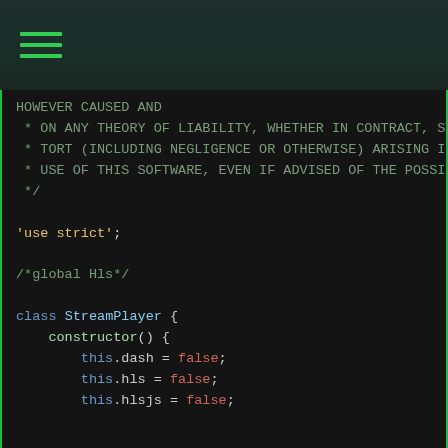[Figure (screenshot): Dark-themed code editor screenshot showing a hamburger menu icon at top left on a dark teal header bar]
HOWEVER CAUSED AND
 * ON ANY THEORY OF LIABILITY, WHETHER IN CONTRACT, STRICT LIABILITY, OR
 * TORT (INCLUDING NEGLIGENCE OR OTHERWISE) ARISING IN ANY WAY OUT OF THE
 * USE OF THIS SOFTWARE, EVEN IF ADVISED OF THE POSSIBILITY OF SUCH DAMAGE.
 */

'use strict';

/*global Hls*/

class StreamPlayer {
    constructor() {
        this.dash = false;
        this.hls = false;
        this.hlsjs = false;